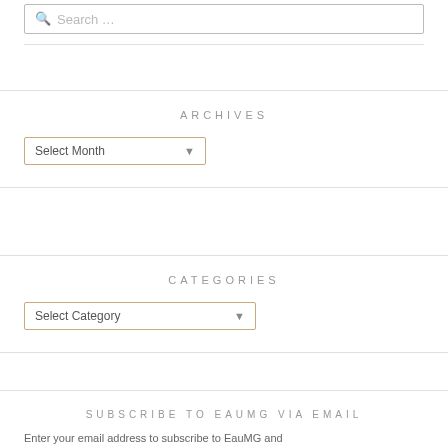Search ...
ARCHIVES
Select Month
CATEGORIES
Select Category
SUBSCRIBE TO EAUMG VIA EMAIL
Enter your email address to subscribe to EauMG and